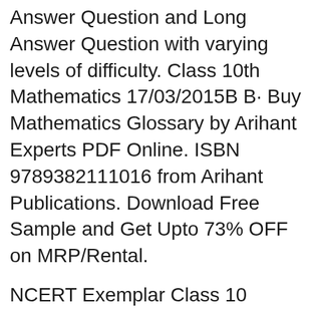Answer Question and Long Answer Question with varying levels of difficulty. Class 10th Mathematics 17/03/2015B B· Buy Mathematics Glossary by Arihant Experts PDF Online. ISBN 9789382111016 from Arihant Publications. Download Free Sample and Get Upto 73% OFF on MRP/Rental.
NCERT Exemplar Class 10 Science problems and solutions are provided here. Click now to download free NCERT exemplar class 10 science problem book PDF 21/10/2018B B· CBSE Laboratory Manual Mathematics Class IX: Amazon.in: Arihant Experts: Books CBSE Class 9th, mathematics lab manual has been prepared strictly